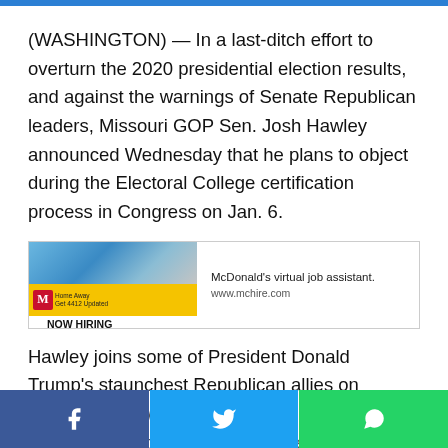(WASHINGTON) — In a last-ditch effort to overturn the 2020 presidential election results, and against the warnings of Senate Republican leaders, Missouri GOP Sen. Josh Hawley announced Wednesday that he plans to object during the Electoral College certification process in Congress on Jan. 6.
[Figure (other): McDonald's advertisement: NOW HIRING Burger & Dinner Locations. McDonald's virtual job assistant. www.mchire.com]
Hawley joins some of President Donald Trump's staunchest Republican allies on Capitol Hill on what could be one of the president's last attempts to challenge the certification of the presidential election results in January and disrupt the peaceful transfer of power to President-elect Joe Biden.
Hawley alleges that some states failed to follow their election
Facebook share | Twitter share | WhatsApp share